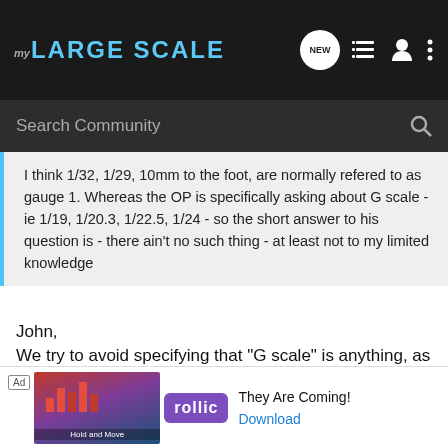MY LARGE SCALE
Search Community
I think 1/32, 1/29, 10mm to the foot, are normally refered to as gauge 1. Whereas the OP is specifically asking about G scale - ie 1/19, 1/20.3, 1/22.5, 1/24 - so the short answer to his question is - there ain't no such thing - at least not to my limited knowledge
John,
We try to avoid specifying that "G scale" is anything, as most modern outline standard gauge guys who run 1/29th think that they are also using "G scale". It's just too open-ended a concept.
I suspect the Original Poster ("OP") was looking for something that runs on his "G gauge" track, i.e. 45mm gauge and possibly code 332. I don't know for sure how they explained the fact that he already ... probably wasn't
[Figure (screenshot): Advertisement banner for a mobile game by Rollic: 'They Are Coming!' with Download button]